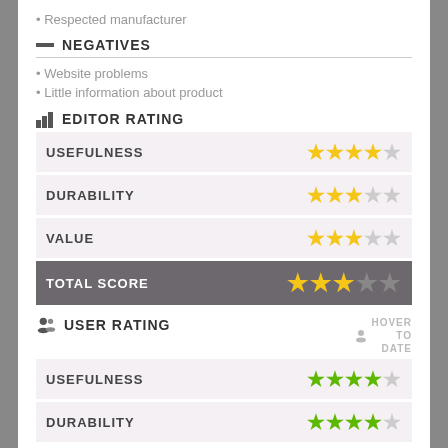• Respected manufacturer
NEGATIVES
• Website problems
• Little information about product
EDITOR RATING
| Category | Rating |
| --- | --- |
| USEFULNESS | 4/5 stars |
| DURABILITY | 3.5/5 stars |
| VALUE | 3.5/5 stars |
| TOTAL SCORE | 3.5/5 stars |
USER RATING
| Category | Rating |
| --- | --- |
| USEFULNESS | 4/5 green stars |
| DURABILITY | 4.5/5 green stars |